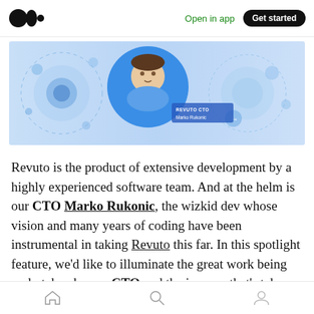Medium logo | Open in app | Get started
[Figure (illustration): Banner image showing Revuto branding with blue circular design elements and a photo of a man (Marko Rukonic) in a blue circle with text 'REVUTO CTO Marko Rukonic']
Revuto is the product of extensive development by a highly experienced software team. And at the helm is our CTO Marko Rukonic, the wizkid dev whose vision and many years of coding have been instrumental in taking Revuto this far. In this spotlight feature, we'd like to illuminate the great work being undertaken by our CTO and the journey that's taken him here today.
Home | Search | Profile